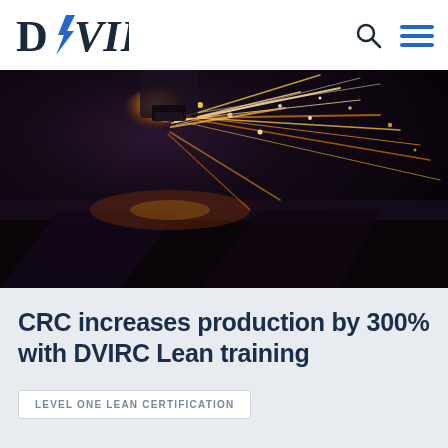DVIRC
[Figure (photo): Industrial laser cutting or welding machine producing bright sparks and light trails against a dark background]
CRC increases production by 300% with DVIRC Lean training
LEVEL ONE LEAN CERTIFICATION